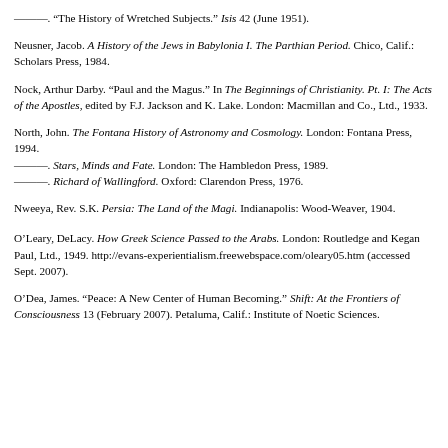———. "The History of Wretched Subjects." Isis 42 (June 1951).
Neusner, Jacob. A History of the Jews in Babylonia I. The Parthian Period. Chico, Calif.: Scholars Press, 1984.
Nock, Arthur Darby. "Paul and the Magus." In The Beginnings of Christianity. Pt. I: The Acts of the Apostles, edited by F.J. Jackson and K. Lake. London: Macmillan and Co., Ltd., 1933.
North, John. The Fontana History of Astronomy and Cosmology. London: Fontana Press, 1994.
———. Stars, Minds and Fate. London: The Hambledon Press, 1989.
———. Richard of Wallingford. Oxford: Clarendon Press, 1976.
Nweeya, Rev. S.K. Persia: The Land of the Magi. Indianapolis: Wood-Weaver, 1904.
O'Leary, DeLacy. How Greek Science Passed to the Arabs. London: Routledge and Kegan Paul, Ltd., 1949. http://evans-experientialism.freewebspace.com/oleary05.htm (accessed Sept. 2007).
O'Dea, James. "Peace: A New Center of Human Becoming." Shift: At the Frontiers of Consciousness 13 (February 2007). Petaluma, Calif.: Institute of Noetic Sciences.